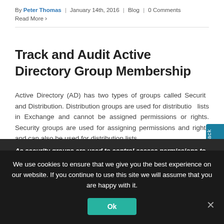By Peter Thomas | January 14th, 2016 | Blog | 0 Comments
Read More >
Track and Audit Active Directory Group Membership
Active Directory (AD) has two types of groups called Security and Distribution. Distribution groups are used for distribution lists in Exchange and cannot be assigned permissions or rights. Security groups are used for assigning permissions and rights and can also be used for distribution lists.
As security groups are used to control access permissions to
By Peter Thomas | January 14th, 2016 | Blog | 0 Comments
Read More >
We use cookies to ensure that we give you the best experience on our website. If you continue to use this site we will assume that you are happy with it.
Ok